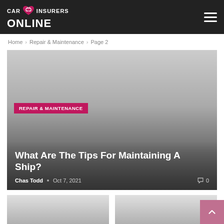CAR INSURERS ONLINE
Home > Repair & Maintenance > Page 2
REPAIR & MAINTENANCE
[Figure (photo): Hero banner image with gradient overlay for article about ship maintenance]
What Are The Tips For Maintaining A Ship?
Chas Todd • Oct 7, 2021   0
[Figure (photo): Thumbnail image for second article (left)]
[Figure (photo): Thumbnail image for third article (right)]